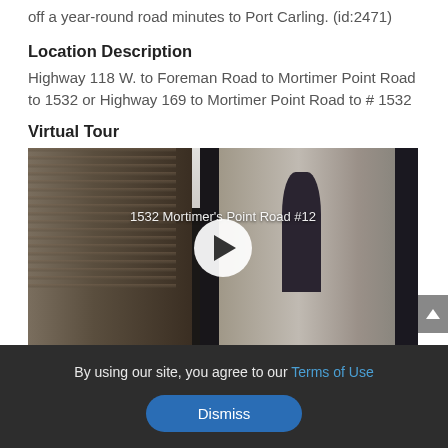off a year-round road minutes to Port Carling. (id:2471)
Location Description
Highway 118 W. to Foreman Road to Mortimer Point Road to 1532 or Highway 169 to Mortimer Point Road to # 1532
Virtual Tour
[Figure (photo): Virtual tour thumbnail of 1532 Mortimer's Point Road #12, showing a luxury interior with stone fireplace, white ceiling beams, and large windows, with a play button overlay]
By using our site, you agree to our Terms of Use
Dismiss